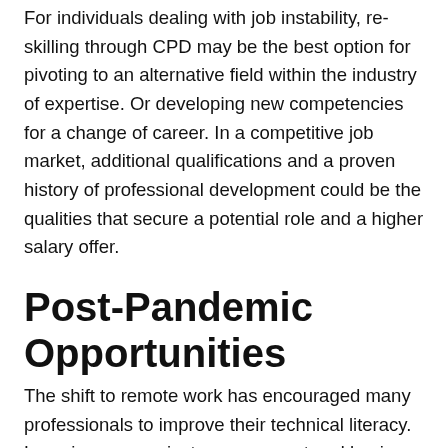For individuals dealing with job instability, re-skilling through CPD may be the best option for pivoting to an alternative field within the industry of expertise. Or developing new competencies for a change of career. In a competitive job market, additional qualifications and a proven history of professional development could be the qualities that secure a potential role and a higher salary offer.
Post-Pandemic Opportunities
The shift to remote work has encouraged many professionals to improve their technical literacy. Learning new project management and business communication tools has been necessary to execute professional responsibilities from home and maintain performance levels. This development has